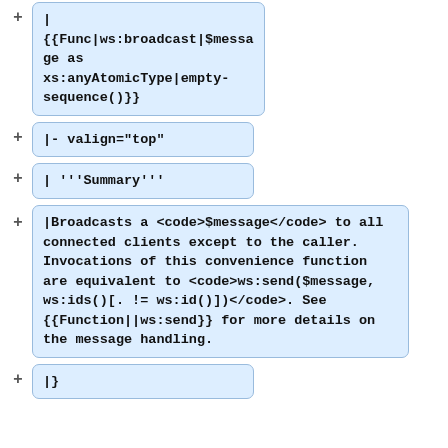| {{Func|ws:broadcast|$message as xs:anyAtomicType|empty-sequence()}}
|- valign="top"
| '''Summary'''
|Broadcasts a <code>$message</code> to all connected clients except to the caller. Invocations of this convenience function are equivalent to <code>ws:send($message, ws:ids()[. != ws:id()])</code>. See {{Function||ws:send}} for more details on the message handling.
|}